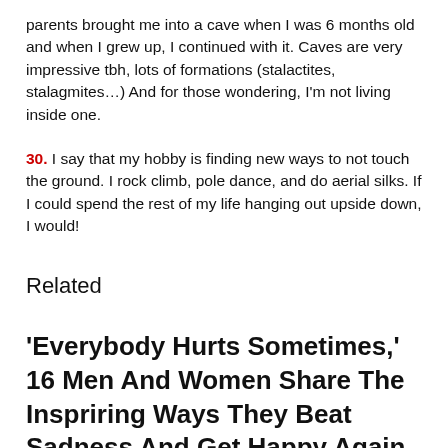parents brought me into a cave when I was 6 months old and when I grew up, I continued with it. Caves are very impressive tbh, lots of formations (stalactites, stalagmites…) And for those wondering, I'm not living inside one.
30. I say that my hobby is finding new ways to not touch the ground. I rock climb, pole dance, and do aerial silks. If I could spend the rest of my life hanging out upside down, I would!
Related
'Everybody Hurts Sometimes,' 16 Men And Women Share The Inspriring Ways They Beat Sadness And Get Happy Again